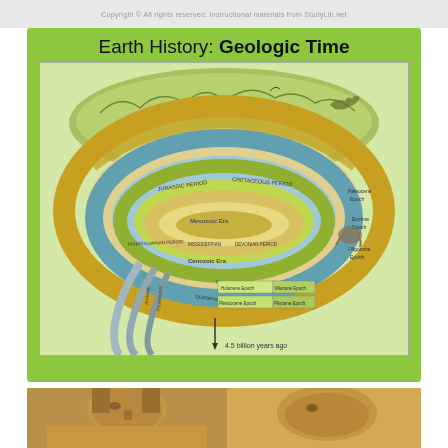Copyright © All rights reserved. Instructional materials from StudyLib.net
Earth History: Geologic Time
[Figure (illustration): Spiral illustration of geologic time showing Earth's history from 4.5 billion years ago to present, with geological eras (Paleozoic Era, Mesozoic Era, Cenozoic Era) and periods (Jurassic Period, Cretaceous Period, Pennsylvanian Period, Mississippian Period, Devonian Period, Tertiary Period, Quaternary Period) labeled on concentric spiral bands, with illustrations of life forms and landscapes. Labels include Paleocene Epoch, Eocene Epoch, Oligocene Epoch, Miocene Epoch, Pliocene Epoch, Holocene Epoch, and note '4.5 billion years ago' at bottom.]
[Figure (photo): Partial photograph of a sphinx or ancient Egyptian stone statue, showing the face and upper body in warm brown/gold tones.]